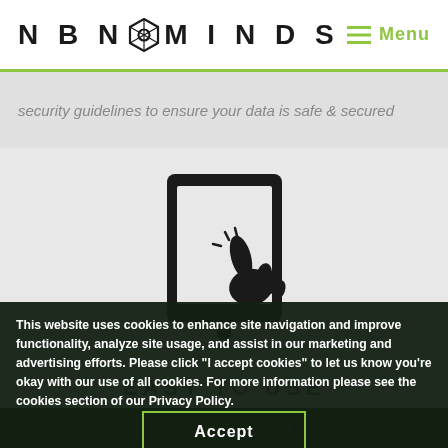[Figure (logo): NBN Minds logo with hexagonal icon between NBN and MINDS text]
Menu
security guidelines to ensure your data is safe & secured
[Figure (illustration): Icon of a hand/finger touching a tablet screen]
EASY TO USE
This website uses cookies to enhance site navigation and improve functionality, analyze site usage, and assist in our marketing and advertising efforts. Please click "I accept cookies" to let us know you're okay with our use of all cookies. For more information please see the cookies section of our Privacy Policy.
Accept
GET A QUOTE